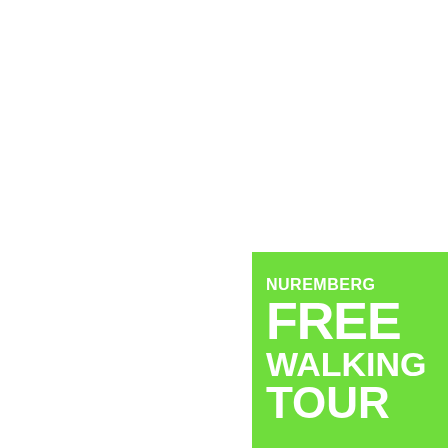[Figure (logo): Nuremberg Free Walking Tour logo: a green square containing white bold text reading 'NUREMBERG' on top in smaller font, then 'FREE', 'WALKING', 'TOUR' in large bold white uppercase text stacked vertically.]